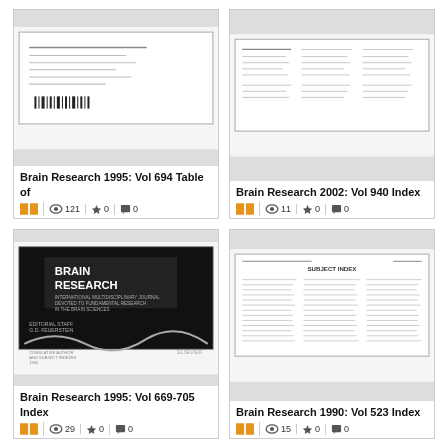[Figure (screenshot): Thumbnail of Brain Research 1995 Vol 694 Table of Contents document page with barcode]
Brain Research 1995: Vol 694 Table of
121 views, 0 favorites, 0 comments
[Figure (screenshot): Thumbnail of Brain Research 2002 Vol 940 Index document page]
Brain Research 2002: Vol 940 Index
11 views, 0 favorites, 0 comments
[Figure (screenshot): Thumbnail of Brain Research 1995 Vol 669-705 Index with dark cover showing BRAIN RESEARCH journal title]
Brain Research 1995: Vol 669-705 Index
29 views, 0 favorites, 0 comments
[Figure (screenshot): Thumbnail of Brain Research 1990 Vol 523 Index document page with columnar text]
Brain Research 1990: Vol 523 Index
15 views, 0 favorites, 0 comments